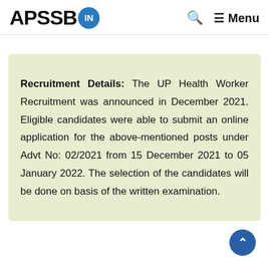APSSB.IN — Search Menu
Recruitment Details: The UP Health Worker Recruitment was announced in December 2021. Eligible candidates were able to submit an online application for the above-mentioned posts under Advt No: 02/2021 from 15 December 2021 to 05 January 2022. The selection of the candidates will be done on basis of the written examination.